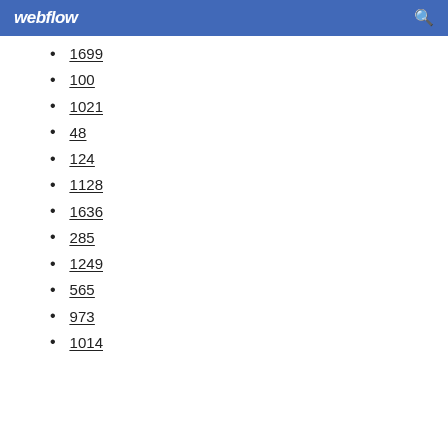webflow
1699
100
1021
48
124
1128
1636
285
1249
565
973
1014